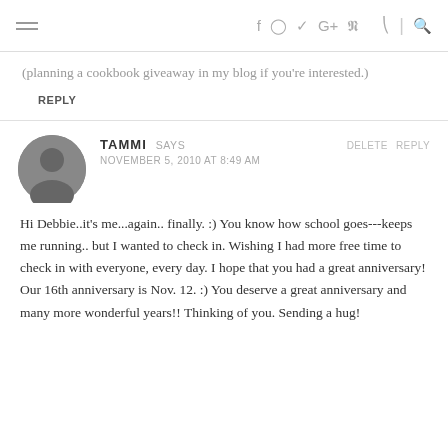navigation header with hamburger menu and social icons: f, instagram, twitter, G+, pinterest, rss, search
(planning a cookbook giveaway in my blog if you're interested.)
REPLY
TAMMI SAYS
NOVEMBER 5, 2010 AT 8:49 AM
Hi Debbie..it's me...again.. finally. :) You know how school goes---keeps me running.. but I wanted to check in. Wishing I had more free time to check in with everyone, every day. I hope that you had a great anniversary! Our 16th anniversary is Nov. 12. :) You deserve a great anniversary and many more wonderful years!! Thinking of you. Sending a hug!